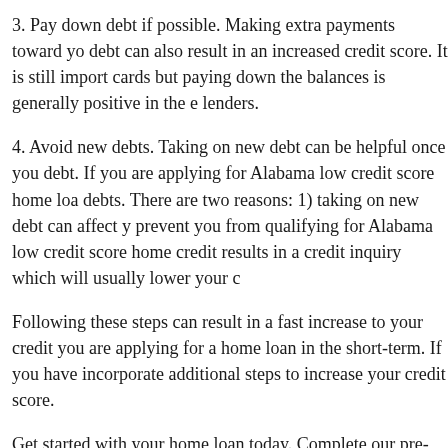3. Pay down debt if possible. Making extra payments toward your debt can also result in an increased credit score. It is still important to not close credit cards but paying down the balances is generally positive in the eyes of lenders.
4. Avoid new debts. Taking on new debt can be helpful once you have paid down debt. If you are applying for Alabama low credit score home loans, avoid new debts. There are two reasons: 1) taking on new debt can affect your DTI and prevent you from qualifying for Alabama low credit score home loans and 2) new credit results in a credit inquiry which will usually lower your credit score.
Following these steps can result in a fast increase to your credit score if you are applying for a home loan in the short-term. If you have more time, incorporate additional steps to increase your credit score.
Get started with your home loan today. Complete our pre-approval form and loan agents will contact you.